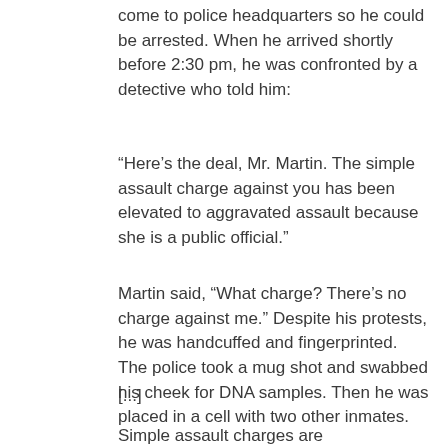come to police headquarters so he could be arrested. When he arrived shortly before 2:30 pm, he was confronted by a detective who told him:
“Here’s the deal, Mr. Martin. The simple assault charge against you has been elevated to aggravated assault because she is a public official.”
Martin said, “What charge? There’s no charge against me.” Despite his protests, he was handcuffed and fingerprinted. The police took a mug shot and swabbed his cheek for DNA samples. Then he was placed in a cell with two other inmates.
[...]
Simple assault charges are